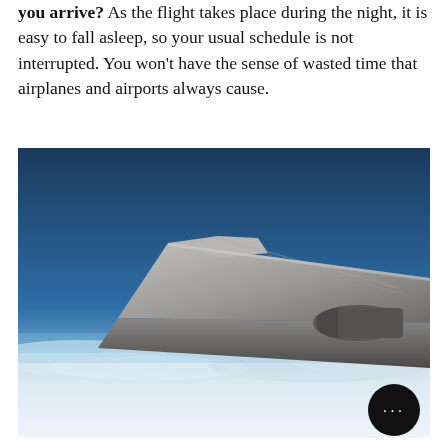you arrive? As the flight takes place during the night, it is easy to fall asleep, so your usual schedule is not interrupted. You won't have the sense of wasted time that airplanes and airports always cause.
[Figure (photo): View from airplane window showing the aircraft wing against a deep blue sky with white clouds below]